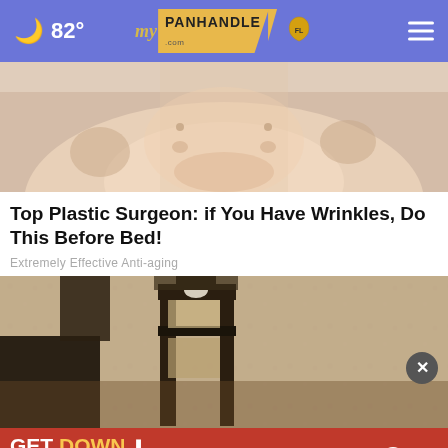82° myPanhandle.com
[Figure (photo): Close-up photo of a person's chin and lower face with what appears to be a skincare treatment being applied]
Top Plastic Surgeon: if You Have Wrinkles, Do This Before Bed!
Extremely Effective Anti-aging
[Figure (photo): Close-up photo of a wall-mounted lantern light fixture on a textured stone or stucco wall]
[Figure (screenshot): Advertisement banner: GET DOWN WITH YOUR BLOOD PRESSURE - ACT NOW - In partnership with the Office of Minority Health and Health Resources & Services Administration. Logos for ad council, American Heart Association, and AMA shown.]